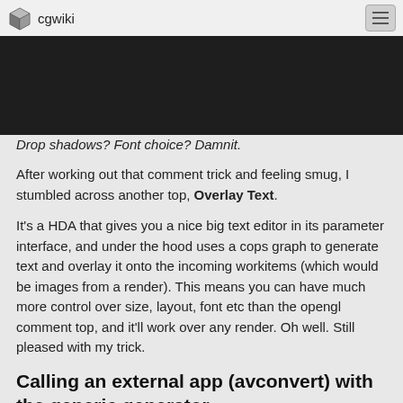cgwiki
[Figure (screenshot): Dark background area, screenshot of a dark render or viewport]
Drop shadows? Font choice? Damnit.
After working out that comment trick and feeling smug, I stumbled across another top, Overlay Text.
It's a HDA that gives you a nice big text editor in its parameter interface, and under the hood uses a cops graph to generate text and overlay it onto the incoming workitems (which would be images from a render). This means you can have much more control over size, layout, font etc than the opengl comment top, and it'll work over any render. Oh well. Still pleased with my trick.
Calling an external app (avconvert) with the generic generator